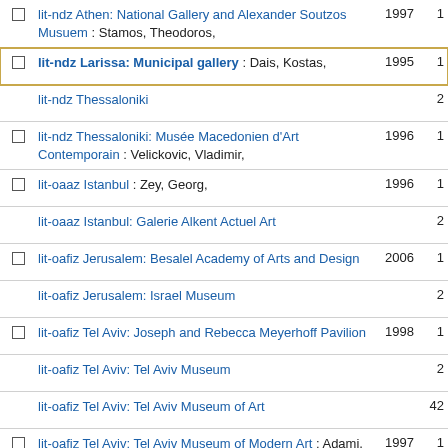lit-ndz Athen: National Gallery and Alexander Soutzos Musuem : Stamos, Theodoros,  1997  1
lit-ndz Larissa: Municipal gallery : Dais, Kostas,  1995  1
lit-ndz Thessaloniki  2
lit-ndz Thessaloniki: Musée Macedonien d'Art Contemporain : Velickovic, Vladimir,  1996  1
lit-oaaz Istanbul : Zey, Georg,  1996  1
lit-oaaz Istanbul: Galerie Alkent Actuel Art  2
lit-oafiz Jerusalem: Besalel Academy of Arts and Design  2006  1
lit-oafiz Jerusalem: Israel Museum  2
lit-oafiz Tel Aviv: Joseph and Rebecca Meyerhoff Pavilion  1998  1
lit-oafiz Tel Aviv: Tel Aviv Museum  2
lit-oafiz Tel Aviv: Tel Aviv Museum of Art  42
lit-oafiz Tel Aviv: Tel Aviv Museum of Modern Art : Adami, Valerio,  1997  1